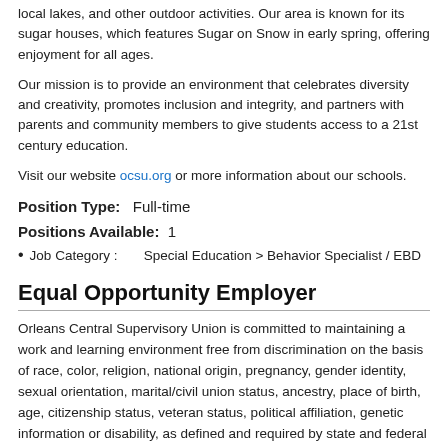local lakes, and other outdoor activities. Our area is known for its sugar houses, which features Sugar on Snow in early spring, offering enjoyment for all ages.
Our mission is to provide an environment that celebrates diversity and creativity, promotes inclusion and integrity, and partners with parents and community members to give students access to a 21st century education.
Visit our website ocsu.org or more information about our schools.
Position Type:   Full-time
Positions Available:   1
Job Category :        Special Education > Behavior Specialist / EBD
Equal Opportunity Employer
Orleans Central Supervisory Union is committed to maintaining a work and learning environment free from discrimination on the basis of race, color, religion, national origin, pregnancy, gender identity, sexual orientation, marital/civil union status, ancestry, place of birth, age, citizenship status, veteran status, political affiliation, genetic information or disability, as defined and required by state and federal laws. Additionally, we prohibit retaliation against individuals who oppose such discrimination and harassment or who participate in an equal opportunity investigation.